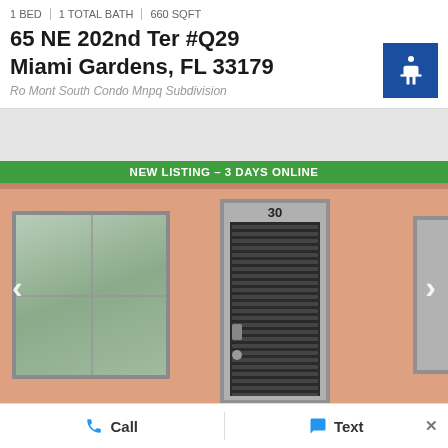1 BED | 1 TOTAL BATH | 660 SQFT
65 NE 202nd Ter #Q29
Miami Gardens, FL 33179
Ro Mont South Condo Mnpq Subdivision
[Figure (photo): Exterior photo of a salmon/peach colored apartment building showing unit door numbered 30 with security screen, a window to the left, and partial view of another door to the right. Green banner reads NEW LISTING - 3 DAYS ONLINE.]
Call
Text